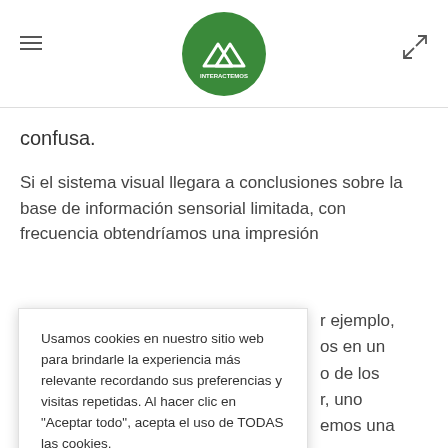Interactemos — navigation header with logo
confusa.
Si el sistema visual llegara a conclusiones sobre la base de información sensorial limitada, con frecuencia obtendríamos una impresión
Usamos cookies en nuestro sitio web para brindarle la experiencia más relevante recordando sus preferencias y visitas repetidas. Al hacer clic en "Aceptar todo", acepta el uso de TODAS las cookies.
ejemplo, os en un o de los r, uno emos una no creemos e visible (por
ejemplo, el borde del vaso).